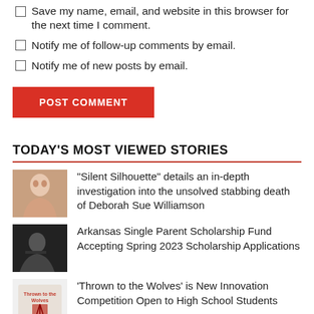Save my name, email, and website in this browser for the next time I comment.
Notify me of follow-up comments by email.
Notify me of new posts by email.
POST COMMENT
TODAY'S MOST VIEWED STORIES
"Silent Silhouette" details an in-depth investigation into the unsolved stabbing death of Deborah Sue Williamson
Arkansas Single Parent Scholarship Fund Accepting Spring 2023 Scholarship Applications
'Thrown to the Wolves' is New Innovation Competition Open to High School Students